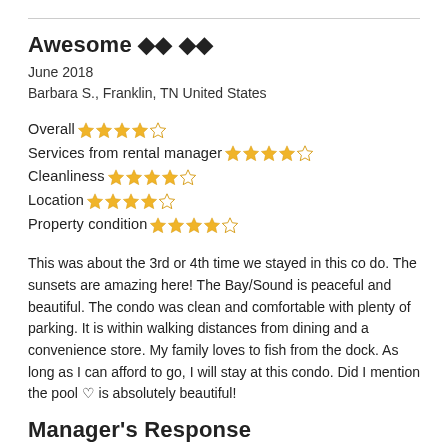Awesome �� ��
June 2018
Barbara S., Franklin, TN United States
Overall: 4/5 stars
Services from rental manager: 4/5 stars
Cleanliness: 5/5 stars
Location: 5/5 stars
Property condition: 4/5 stars
This was about the 3rd or 4th time we stayed in this co do. The sunsets are amazing here! The Bay/Sound is peaceful and beautiful. The condo was clean and comfortable with plenty of parking. It is within walking distances from dining and a convenience store. My family loves to fish from the dock. As long as I can afford to go, I will stay at this condo. Did I mention the pool ♥ is absolutely beautiful!
Manager's Response